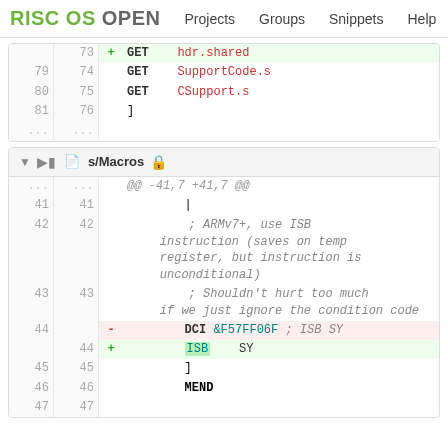RISC OS OPEN  Projects  Groups  Snippets  Help
| old | new | sign | code |
| --- | --- | --- | --- |
|  | 73 | + | GET    hdr.shared |
| 79 | 74 |  | GET    SupportCode.s |
| 80 | 75 |  | GET    CSupport.s |
| 81 | 76 |  | ] |
| ... | ... |  |  |
s/Macros
| old | new | sign | code |
| --- | --- | --- | --- |
| ... | ... |  | @@ -41,7 +41,7 @@ |
| 41 | 41 |  | | |
| 42 | 42 |  | ; ARMv7+, use ISB instruction (saves on temp register, but instruction is unconditional) |
| 43 | 43 |  | ; Shouldn't hurt too much if we just ignore the condition code |
| 44 |  | - | DCI &F57FF06F ; ISB SY |
|  | 44 | + | ISB    SY |
| 45 | 45 |  | ] |
| 46 | 46 |  | MEND |
| 47 | 47 |  |  |